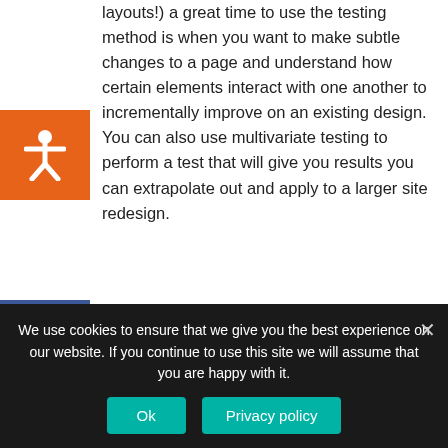layouts!) a great time to use the testing method is when you want to make subtle changes to a page and understand how certain elements interact with one another to incrementally improve on an existing design. You can also use multivariate testing to perform a test that will give you results you can extrapolate out and apply to a larger site redesign.
Just remember that, in order for the multivariate and A/B tests to give meaningful results, it's not enough to have site traffic overall; the pages being tested also need to receive substantial traffic! Make sure you select pages that people can find and visit regularly so your test actually yields some data to
We use cookies to ensure that we give you the best experience on our website. If you continue to use this site we will assume that you are happy with it.